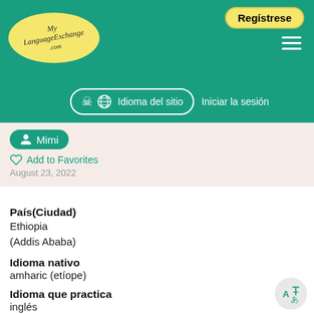Regístrese | Idioma del sitio | Iniciar la sesión | MyLanguageExchange.com
Mimi
Add to Favorites
August 23, 2022
País(Ciudad)
Ethiopia
(Addis Ababa)
Idioma nativo
amharic (etíope)
Idioma que practica
inglés
Descripción
I would like to discuss anything, books, politics, football ... and improve our English, too. I would love to hear from anybody who